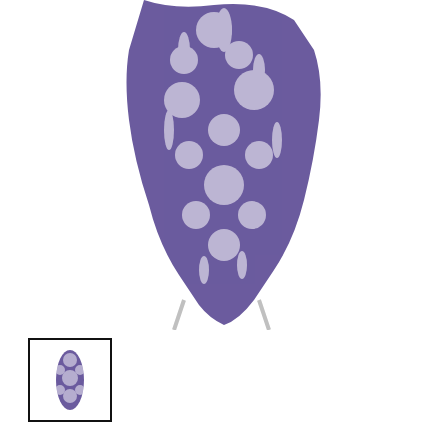[Figure (photo): Purple and white floral/leaves design fabric face mask hanging on a display stand, shown from above against a white background.]
[Figure (photo): Small thumbnail image of the purple floral/leaves design face mask, shown folded, inside a black-bordered square thumbnail box.]
10 Piece Purple Floral/Leaves Design Print Mask 3 Ply
Price:  R 19
Quantity:  1